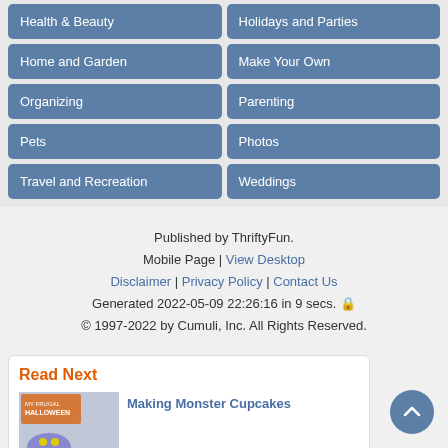Health & Beauty
Holidays and Parties
Home and Garden
Make Your Own
Organizing
Parenting
Pets
Photos
Travel and Recreation
Weddings
Published by ThriftyFun.
Mobile Page | View Desktop
Disclaimer | Privacy Policy | Contact Us
Generated 2022-05-09 22:26:16 in 9 secs.
© 1997-2022 by Cumuli, Inc. All Rights Reserved.
Read Next
Making Monster Cupcakes